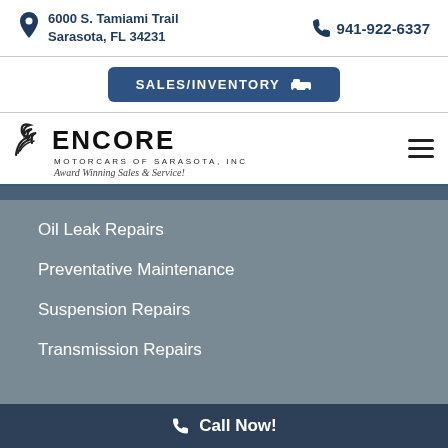6000 S. Tamiami Trail
Sarasota, FL 34231
941-922-6337
SALES/INVENTORY
[Figure (logo): Encore Motorcars of Sarasota, Inc. — Award Winning Sales & Service! logo with swirl graphic]
Oil Leak Repairs
Preventative Maintenance
Suspension Repairs
Transmission Repairs
Call Now!